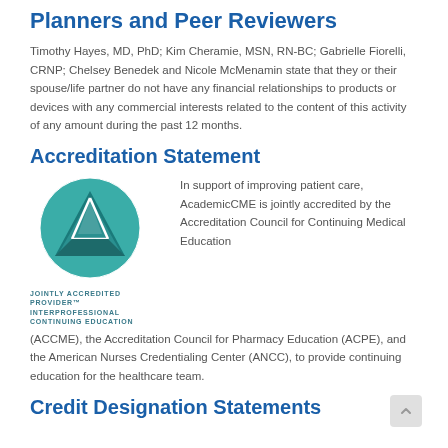Planners and Peer Reviewers
Timothy Hayes, MD, PhD; Kim Cheramie, MSN, RN-BC; Gabrielle Fiorelli, CRNP; Chelsey Benedek and Nicole McMenamin state that they or their spouse/life partner do not have any financial relationships to products or devices with any commercial interests related to the content of this activity of any amount during the past 12 months.
Accreditation Statement
[Figure (logo): Jointly Accredited Provider - Interprofessional Continuing Education logo with teal circular emblem]
In support of improving patient care, AcademicCME is jointly accredited by the Accreditation Council for Continuing Medical Education (ACCME), the Accreditation Council for Pharmacy Education (ACPE), and the American Nurses Credentialing Center (ANCC), to provide continuing education for the healthcare team.
Credit Designation Statements